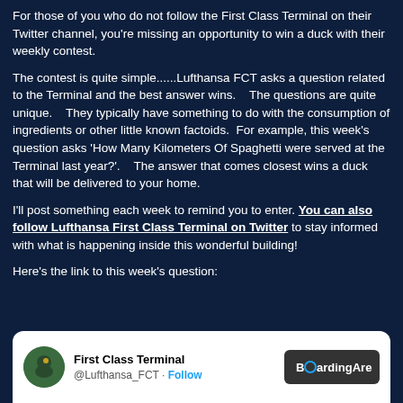For those of you who do not follow the First Class Terminal on their Twitter channel, you're missing an opportunity to win a duck with their weekly contest.
The contest is quite simple......Lufthansa FCT asks a question related to the Terminal and the best answer wins.    The questions are quite unique.    They typically have something to do with the consumption of ingredients or other little known factoids.  For example, this week's question asks 'How Many Kilometers Of Spaghetti were served at the Terminal last year?'.    The answer that comes closest wins a duck that will be delivered to your home.
I'll post something each week to remind you to enter.  You can also follow Lufthansa First Class Terminal on Twitter to stay informed with what is happening inside this wonderful building!
Here's the link to this week's question:
[Figure (screenshot): Tweet card showing First Class Terminal @Lufthansa_FCT with Follow button and BoardingArea logo]